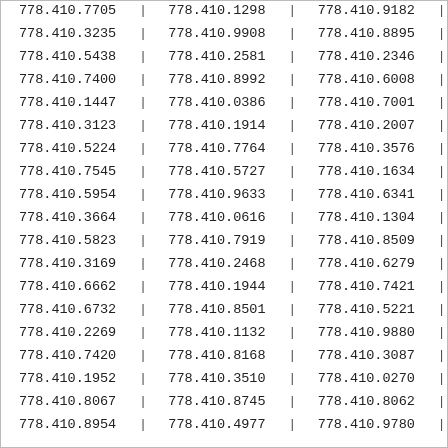| col1 | sep1 | col2 | sep2 | col3 | sep3 |
| --- | --- | --- | --- | --- | --- |
| 778.410.7705 | | | 778.410.1298 | | | 778.410.9182 | | |
| 778.410.3235 | | | 778.410.9908 | | | 778.410.8895 | | |
| 778.410.5438 | | | 778.410.2581 | | | 778.410.2346 | | |
| 778.410.7400 | | | 778.410.8992 | | | 778.410.6008 | | |
| 778.410.1447 | | | 778.410.0386 | | | 778.410.7001 | | |
| 778.410.3123 | | | 778.410.1914 | | | 778.410.2007 | | |
| 778.410.5224 | | | 778.410.7764 | | | 778.410.3576 | | |
| 778.410.7545 | | | 778.410.5727 | | | 778.410.1634 | | |
| 778.410.5954 | | | 778.410.9633 | | | 778.410.6341 | | |
| 778.410.3664 | | | 778.410.0616 | | | 778.410.1304 | | |
| 778.410.5823 | | | 778.410.7919 | | | 778.410.8509 | | |
| 778.410.3169 | | | 778.410.2468 | | | 778.410.6279 | | |
| 778.410.6662 | | | 778.410.1944 | | | 778.410.7421 | | |
| 778.410.6732 | | | 778.410.8501 | | | 778.410.5221 | | |
| 778.410.2269 | | | 778.410.1132 | | | 778.410.9880 | | |
| 778.410.7420 | | | 778.410.8168 | | | 778.410.3087 | | |
| 778.410.1952 | | | 778.410.3510 | | | 778.410.0270 | | |
| 778.410.8067 | | | 778.410.8745 | | | 778.410.8062 | | |
| 778.410.8954 | | | 778.410.4977 | | | 778.410.9780 | | |